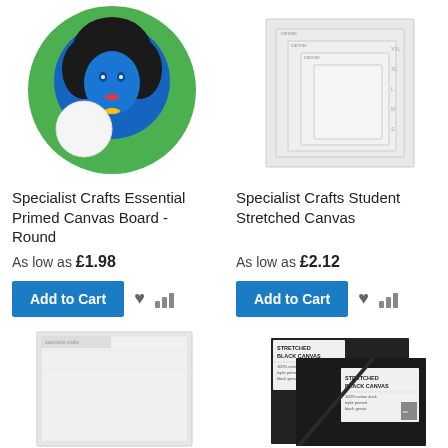[Figure (photo): Round canvas board product photo showing a painted portrait on a green circle canvas, with a plain white round canvas board next to it]
[Figure (photo): Specialist Crafts Student Stretched Canvas product photo showing multiple white rectangular stretched canvases fanned out]
Specialist Crafts Essential Primed Canvas Board - Round
Specialist Crafts Student Stretched Canvas
As low as £1.98
As low as £2.12
[Figure (photo): White stretched canvas product photo]
[Figure (photo): Stretched Black Canvas product photo showing two black canvases with packaging labels]